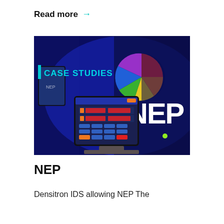Read more →
[Figure (photo): Photo of a broadcast studio showing a NEP-branded display with a touchscreen timer interface in the foreground and NEP logo and colourful wheel graphic in the background.]
NEP
Densitron IDS allowing NEP The